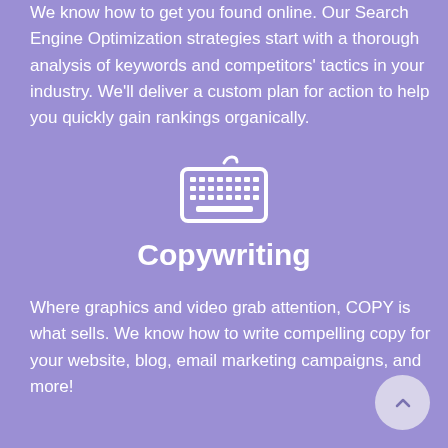We know how to get you found online. Our Search Engine Optimization strategies start with a thorough analysis of keywords and competitors' tactics in your industry. We'll deliver a custom plan for action to help you quickly gain rankings organically.
[Figure (illustration): White keyboard icon on purple background]
Copywriting
Where graphics and video grab attention, COPY is what sells. We know how to write compelling copy for your website, blog, email marketing campaigns, and more!